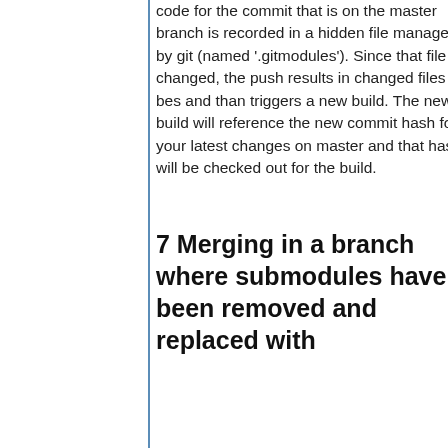code for the commit that is on the master branch is recorded in a hidden file managed by git (named '.gitmodules'). Since that file is changed, the push results in changed files in bes and than triggers a new build. The new build will reference the new commit hash for your latest changes on master and that hash will be checked out for the build.
7 Merging in a branch where submodules have been removed and replaced with